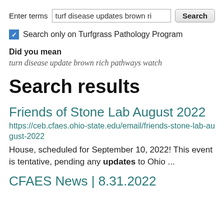Enter terms  turf disease updates brown ri  Search
Search only on Turfgrass Pathology Program
Did you mean
turn disease update brown rich pathways watch
Search results
Friends of Stone Lab August 2022
https://ceb.cfaes.ohio-state.edu/email/friends-stone-lab-august-2022
House, scheduled for September 10, 2022! This event is tentative, pending any updates to Ohio ...
CFAES News | 8.31.2022